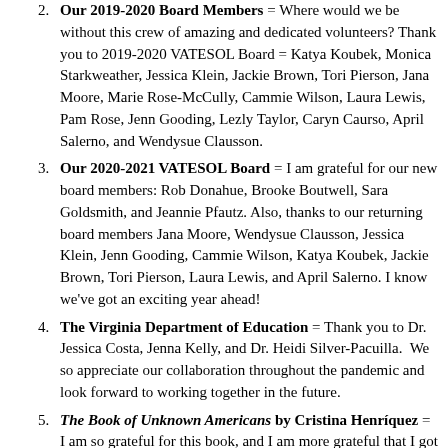Our 2019-2020 Board Members = Where would we be without this crew of amazing and dedicated volunteers? Thank you to 2019-2020 VATESOL Board = Katya Koubek, Monica Starkweather, Jessica Klein, Jackie Brown, Tori Pierson, Jana Moore, Marie Rose-McCully, Cammie Wilson, Laura Lewis, Pam Rose, Jenn Gooding, Lezly Taylor, Caryn Caurso, April Salerno, and Wendysue Clausson.
Our 2020-2021 VATESOL Board = I am grateful for our new board members: Rob Donahue, Brooke Boutwell, Sara Goldsmith, and Jeannie Pfautz. Also, thanks to our returning board members Jana Moore, Wendysue Clausson, Jessica Klein, Jenn Gooding, Cammie Wilson, Katya Koubek, Jackie Brown, Tori Pierson, Laura Lewis, and April Salerno. I know we've got an exciting year ahead!
The Virginia Department of Education = Thank you to Dr. Jessica Costa, Jenna Kelly, and Dr. Heidi Silver-Pacuilla. We so appreciate our collaboration throughout the pandemic and look forward to working together in the future.
The Book of Unknown Americans by Cristina Henríquez = I am so grateful for this book, and I am more grateful that I got to read it for the first time in our first ever VATESOL book club hosted by Laura Lewis, VATESOL